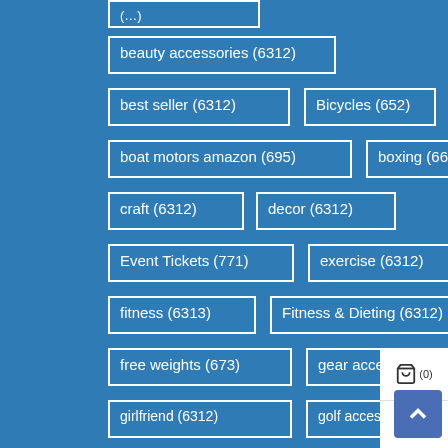(…)
beauty accessories (6312)
best seller (6312)
Bicycles (652)
boat motors amazon (695)
boxing (669)
craft (6312)
decor (6312)
Event Tickets (771)
exercise (6312)
fitness (6313)
Fitness & Dieting (6312)
free weights (673)
gear accessories (644)
girlfriend (6312)
golf accessories (662)
golf bags (663)
golf balls (682)
golf training equipment (658)
handball (696)
Health (6312)